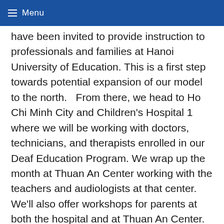Menu
have been invited to provide instruction to professionals and families at Hanoi University of Education. This is a first step towards potential expansion of our model to the north.   From there, we head to Ho Chi Minh City and Children's Hospital 1 where we will be working with doctors, technicians, and therapists enrolled in our Deaf Education Program. We wrap up the month at Thuan An Center working with the teachers and audiologists at that center. We'll also offer workshops for parents at both the hospital and at Thuan An Center. We will also revisit the children that we have been working with at Thuan An Center to